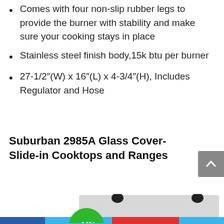Comes with four non-slip rubber legs to provide the burner with stability and make sure your cooking stays in place
Stainless steel finish body,15k btu per burner
27-1/2″(W) x 16″(L) x 4-3/4″(H), Includes Regulator and Hose
Suburban 2985A Glass Cover-Slide-in Cooktops and Ranges
[Figure (photo): Product image of a cooktop/range with a green -44% discount badge overlay, and a multi-color bottom navigation bar]